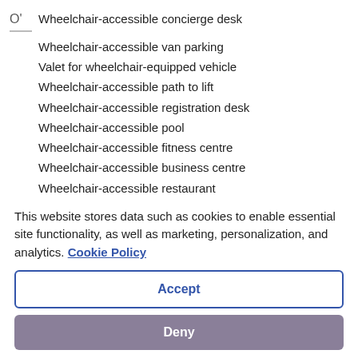Wheelchair-accessible concierge desk
Wheelchair-accessible van parking
Valet for wheelchair-equipped vehicle
Wheelchair-accessible path to lift
Wheelchair-accessible registration desk
Wheelchair-accessible pool
Wheelchair-accessible fitness centre
Wheelchair-accessible business centre
Wheelchair-accessible restaurant
Wheelchair-accessible lounge
This website stores data such as cookies to enable essential site functionality, as well as marketing, personalization, and analytics. Cookie Policy
Accept
Deny